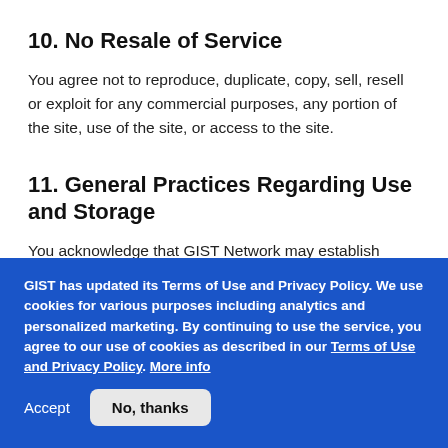10. No Resale of Service
You agree not to reproduce, duplicate, copy, sell, resell or exploit for any commercial purposes, any portion of the site, use of the site, or access to the site.
11. General Practices Regarding Use and Storage
You acknowledge that GIST Network may establish general practices and limits concerning use of the site, including without limitation the maximum number of days that message
GIST has updated its Terms of Use and Privacy Policy. We use cookies for various purposes including analytics and personalized marketing. By continuing to use the service, you agree to our use of cookies as described in our Terms of Use and Privacy Policy. More info